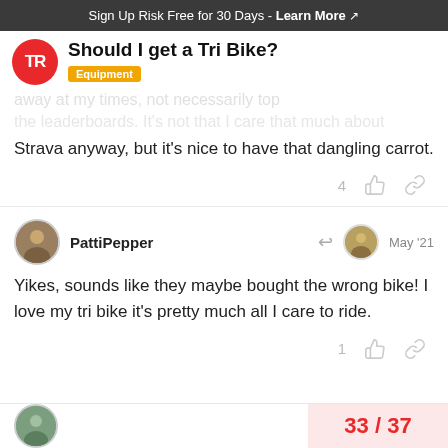Sign Up Risk Free for 30 Days - Learn More
Should I get a Tri Bike?
Equipment
Strava anyway, but it's nice to have that dangling carrot.
PattiPepper  May '21
Yikes, sounds like they maybe bought the wrong bike! I love my tri bike it's pretty much all I care to ride.
33 / 37